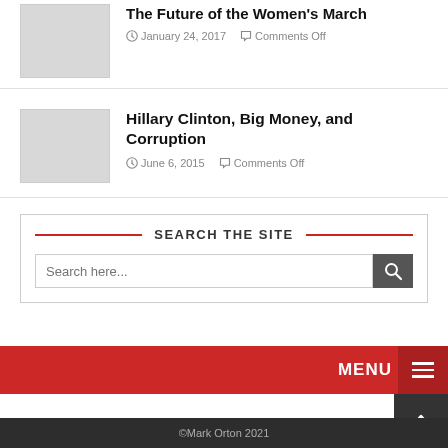[Figure (photo): Thumbnail image placeholder for article about The Future of the Women's March]
The Future of the Women's March
January 24, 2017   Comments Off
[Figure (photo): Thumbnail image placeholder for article about Hillary Clinton, Big Money, and Corruption]
Hillary Clinton, Big Money, and Corruption
June 6, 2015   Comments Off
SEARCH THE SITE
Search here...
©Mark Orton 2021